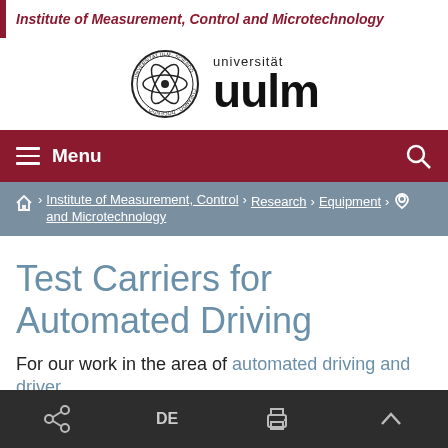Institute of Measurement, Control and Microtechnology
[Figure (logo): Universität Ulm logo with circular seal and text 'universität uulm']
Menu
🏠 › Institute of Measurement, Control and Microtechnology › Research › Equipment › 📍
Test Carriers for Automated Driving
For our work in the area of automated driving and driver